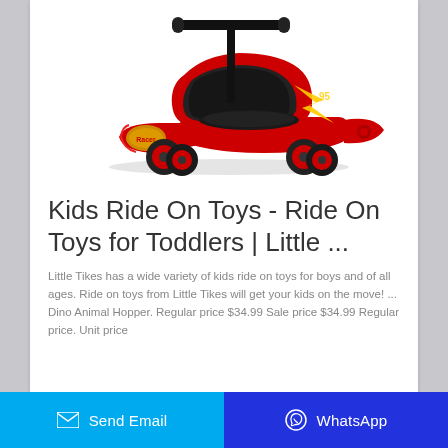[Figure (photo): Red race-themed kids ride-on toy car with black handlebar and four red wheels, shown at an angle on a white background.]
Kids Ride On Toys - Ride On Toys for Toddlers | Little ...
Little Tikes has a wide variety of kids ride on toys for boys and of all ages. Ride on toys from Little Tikes will get your kids on the move! ... Dino Animal Hopper. Regular price $34.99 Sale price $34.99 Regular price. Unit price
Send Email  WhatsApp